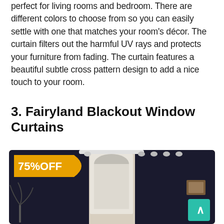perfect for living rooms and bedroom. There are different colors to choose from so you can easily settle with one that matches your room's décor. The curtain filters out the harmful UV rays and protects your furniture from fading. The curtain features a beautiful subtle cross pattern design to add a nice touch to your room.
3. Fairyland Blackout Window Curtains
[Figure (photo): Product photo of dark navy/black blackout window curtains hanging on a curtain rod in a room setting with beige walls, a window, decorative plant, and framed pictures on the wall. A yellow badge with '75%OFF' is in the upper left corner.]